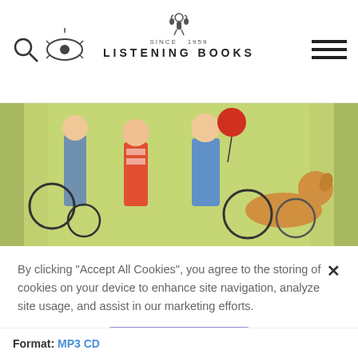[Figure (logo): Listening Books website header with search icon, ear logo, centered 'Listening Books' text logo with figure illustration, and hamburger menu icon]
[Figure (illustration): Colorful illustrated book cover showing children with bicycles and a dog against a floral background]
By clicking “Accept All Cookies”, you agree to the storing of cookies on your device to enhance site navigation, analyze site usage, and assist in our marketing efforts.
[Figure (other): Accept All Cookies button (purple/lavender rounded rectangle)]
Cookies Settings
Format: MP3 CD